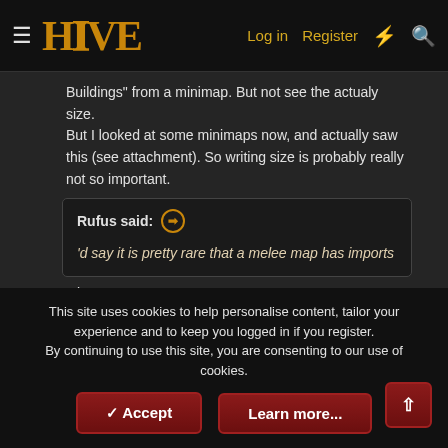HIVE | Log in | Register
Buildings" from a minimap. But not see the actualy size. But I looked at some minimaps now, and actually saw this (see attachment). So writing size is probably really not so important.
Rufus said: 'd say it is pretty rare that a melee map has imports
Okay.
Rufus said: I had a good reason for authors notes on top, but I can't seem to remember that now... 😁
Okay. ^^ Maybe you find out again 🙂.
This site uses cookies to help personalise content, tailor your experience and to keep you logged in if you register. By continuing to use this site, you are consenting to our use of cookies.